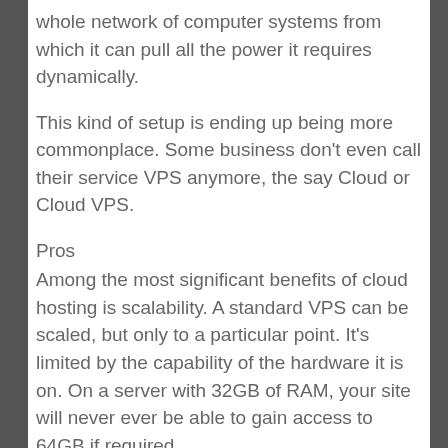whole network of computer systems from which it can pull all the power it requires dynamically.
This kind of setup is ending up being more commonplace. Some business don't even call their service VPS anymore, the say Cloud or Cloud VPS.
Pros
Among the most significant benefits of cloud hosting is scalability. A standard VPS can be scaled, but only to a particular point. It's limited by the capability of the hardware it is on. On a server with 32GB of RAM, your site will never ever be able to gain access to 64GB if required.
This is not the case for a cloud-based system. Instead of separating one computer into several virtual makers, it